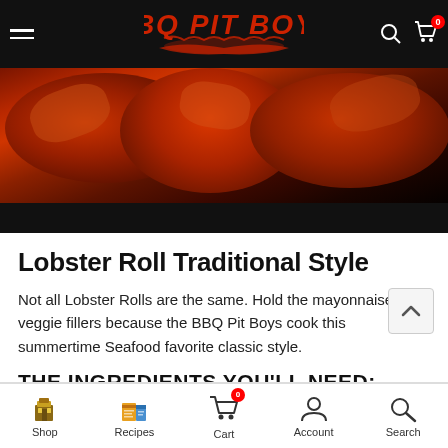BBQ PIT BOYS
[Figure (photo): Close-up photo of red cooked lobsters on a wooden surface, with a black bar below]
Lobster Roll Traditional Style
Not all Lobster Rolls are the same. Hold the mayonnaise and veggie fillers because the BBQ Pit Boys cook this summertime Seafood favorite classic style.
THE INGREDIENTS YOU'LL NEED:
Shop | Recipes | Cart | Account | Search